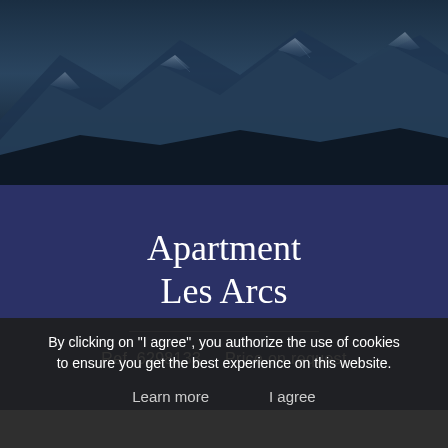[Figure (photo): Dark mountain landscape photo with snow-capped peaks and deep blue tones as hero image background]
Apartment
Les Arcs
Ref. 6298133    Price on request
By clicking on "I agree", you authorize the use of cookies to ensure you get the best experience on this website.
Learn more    I agree